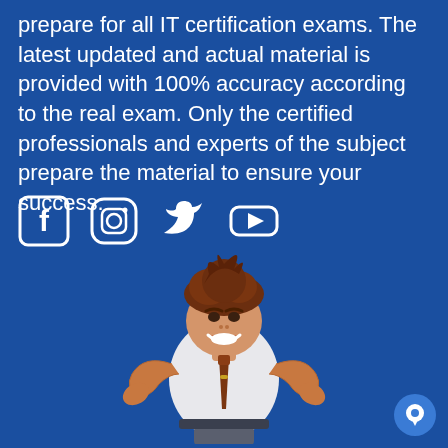prepare for all IT certification exams. The latest updated and actual material is provided with 100% accuracy according to the real exam. Only the certified professionals and experts of the subject prepare the material to ensure your success.
[Figure (illustration): Social media icons: Facebook, Instagram, Twitter, YouTube in white on blue background]
[Figure (illustration): Cartoon character of a smiling businessman in a white shirt and brown tie, giving thumbs up with both hands, with brown hair]